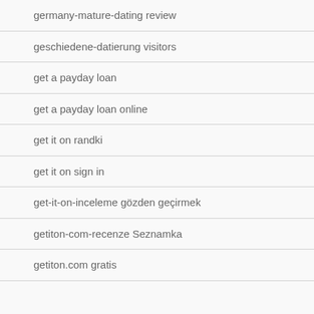germany-mature-dating review
geschiedene-datierung visitors
get a payday loan
get a payday loan online
get it on randki
get it on sign in
get-it-on-inceleme gözden geçirmek
getiton-com-recenze Seznamka
getiton.com gratis